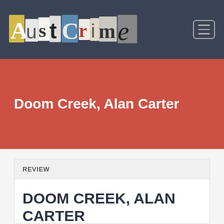[Figure (logo): AustCrime website logo made of ransom-note style cut-out letters on a dark navy navigation bar, with a hamburger menu icon in the top right]
Doom Creek, Alan Carter
REVIEW
DOOM CREEK, ALAN CARTER